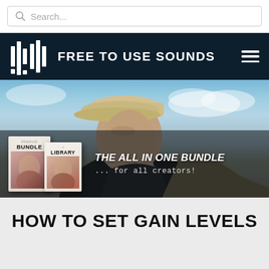[Figure (screenshot): Search bar with magnifying glass icon and placeholder text 'Search...']
FREE TO USE SOUNDS
[Figure (photo): Hero banner showing a person wearing a cap looking upward against a sky background, with product bundle boxes overlay and text 'THE ALL IN ONE BUNDLE ... for all creators!']
HOW TO SET GAIN LEVELS